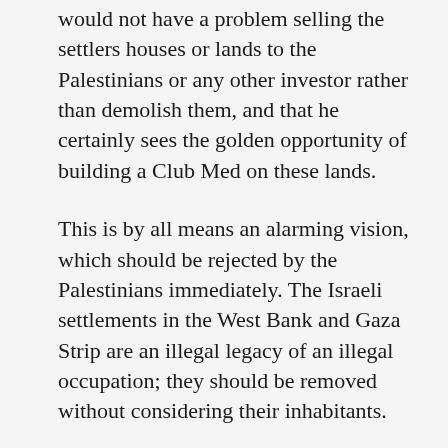would not have a problem selling the settlers houses or lands to the Palestinians or any other investor rather than demolish them, and that he certainly sees the golden opportunity of building a Club Med on these lands.
This is by all means an alarming vision, which should be rejected by the Palestinians immediately. The Israeli settlements in the West Bank and Gaza Strip are an illegal legacy of an illegal occupation; they should be removed without considering their inhabitants.
The settlers are aliens who have controlled the lives of more than a million Arab Palestinians and caused death and suffering to thousands of families in Gaza. Settlements should be extracted from Gaza and not bought; the Palestinians and their Arab brethren should consider that there are things more important than investments, such as the right of a people to live